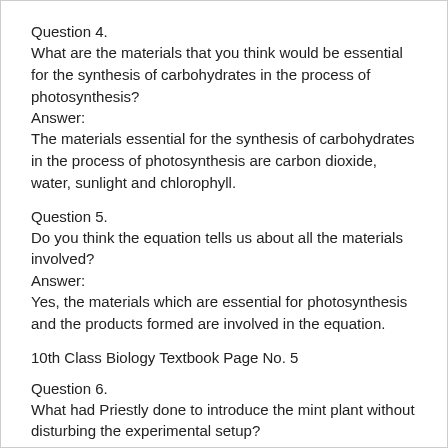Question 4.
What are the materials that you think would be essential for the synthesis of carbohydrates in the process of photosynthesis?
Answer:
The materials essential for the synthesis of carbohydrates in the process of photosynthesis are carbon dioxide, water, sunlight and chlorophyll.
Question 5.
Do you think the equation tells us about all the materials involved?
Answer:
Yes, the materials which are essential for photosynthesis and the products formed are involved in the equation.
10th Class Biology Textbook Page No. 5
Question 6.
What had Priestly done to introduce the mint plant without disturbing the experimental setup?
Answer: